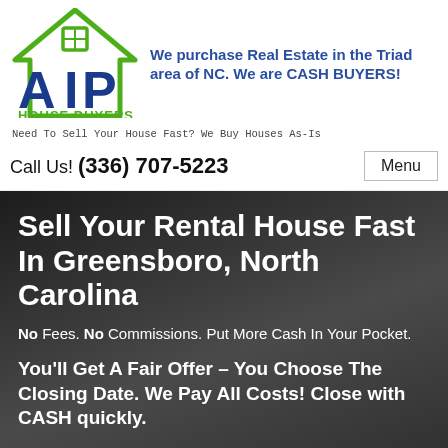[Figure (logo): AIP House Buyers logo with green roof/house icon and blue AIP letters]
We purchase Real Estate in the Triad area of NC. We are CASH BUYERS!
Need To Sell Your House Fast? We Buy Houses As-Is
Call Us! (336) 707-5223
Menu
Sell Your Rental House Fast In Greensboro, North Carolina
No Fees. No Commissions. Put More Cash In Your Pocket.
You'll Get A Fair Offer – You Choose The Closing Date. We Pay All Costs! Close with CASH quickly.
Fill out the short form